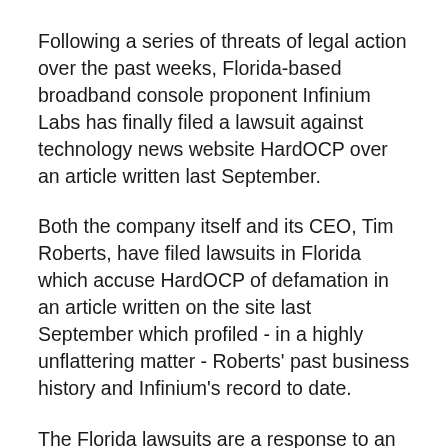Following a series of threats of legal action over the past weeks, Florida-based broadband console proponent Infinium Labs has finally filed a lawsuit against technology news website HardOCP over an article written last September.
Both the company itself and its CEO, Tim Roberts, have filed lawsuits in Florida which accuse HardOCP of defamation in an article written on the site last September which profiled - in a highly unflattering matter - Roberts' past business history and Infinium's record to date.
The Florida lawsuits are a response to an earlier pre-emptive suit which was filed by HardOCP owner Kyle Bennett in the state of Texas with the aim of forcing Infinium to bring the issue to a resolution.
With the...